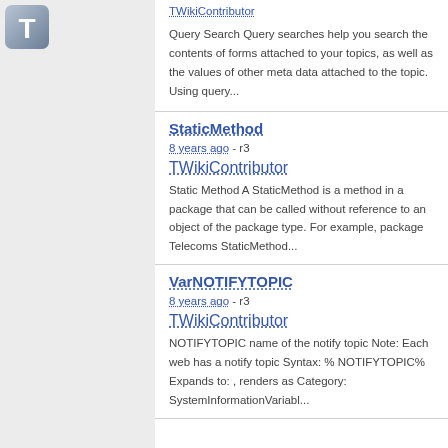[Figure (logo): T icon button in grey/blue gradient]
TWikiContributor
Query Search Query searches help you search the contents of forms attached to your topics, as well as the values of other meta data attached to the topic. Using query...
StaticMethod
8 years ago - r3
TWikiContributor
Static Method A StaticMethod is a method in a package that can be called without reference to an object of the package type. For example, package Telecoms StaticMethod...
VarNOTIFYTOPIC
8 years ago - r3
TWikiContributor
NOTIFYTOPIC name of the notify topic Note: Each web has a notify topic Syntax: % NOTIFYTOPIC% Expands to: , renders as Category: SystemInformationVariabl...